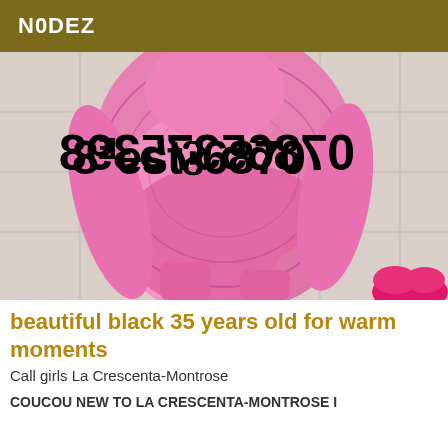N0DEZ
[Figure (photo): Photo of a woman in a pink crochet bodysuit with a reversed phone number overlaid: 8 9 e s 7 5 6 8 7 0 (07865375398 mirrored), wearing yellow beads, pink boots, in a bathroom setting. A pink lip graphic visible bottom right.]
beautiful black 35 years old for warm moments
Call girls La Crescenta-Montrose
COUCOU NEW TO LA CRESCENTA-MONTROSE I